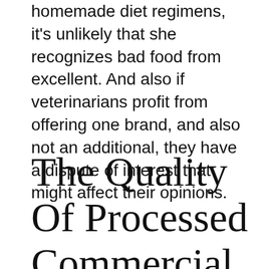homemade diet regimens, it's unlikely that she recognizes bad food from excellent. And also if veterinarians profit from offering one brand, and also not an additional, they have a dispute of interest that might affect their opinions.
The Quality Of Processed Commercial Foods Is Suspect